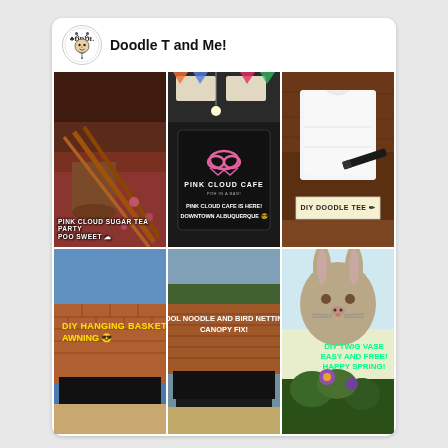[Figure (screenshot): Social media profile page for 'Doodle T and Me!' showing a header with logo and profile name, and a 3x2 grid of video thumbnails. Top row: 'Pink Cloud Sugar Tea Party' craft/food image, 'Pink Cloud Cafe' cafe sign image, 'DIY Doodle Tee' t-shirt craft image. Bottom row: 'DIY Hanging Basket Awning' outdoor furniture image, 'Pool Noodle and Bird Netting Canopy Fix!' outdoor furniture image, 'DIY Twig Vase Easy and Free! Happy Spring!' rabbit/plant image.]